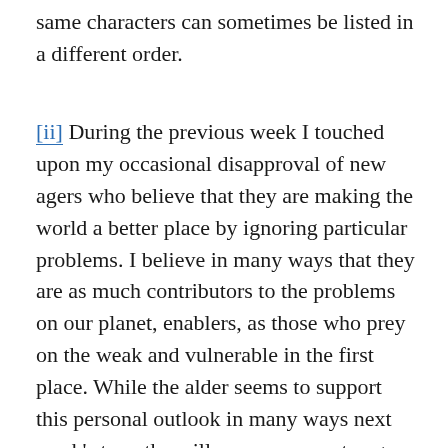same characters can sometimes be listed in a different order.
[ii] During the previous week I touched upon my occasional disapproval of new agers who believe that they are making the world a better place by ignoring particular problems. I believe in many ways that they are as much contributors to the problems on our planet, enablers, as those who prey on the weak and vulnerable in the first place. While the alder seems to support this personal outlook in many ways next week's tree, the willow, may seem to agree more closely to the philosophy of the new ager.